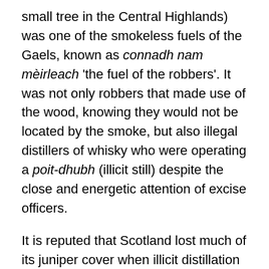small tree in the Central Highlands) was one of the smokeless fuels of the Gaels, known as connadh nam mèirleach 'the fuel of the robbers'. It was not only robbers that made use of the wood, knowing they would not be located by the smoke, but also illegal distillers of whisky who were operating a poit-dhubh (illicit still) despite the close and energetic attention of excise officers.
It is reputed that Scotland lost much of its juniper cover when illicit distillation increased, following attempts by the government to more closely regulate the whisky industry in the Highlands in the late 18th century. Prior to that, there had been a trade in juniper berries from the Highlands to the Netherlands – for the production of gin. One other interesting link between juniper and whisky is that the Gaels at one time added various ingredients to flavour whisky, one of which was juniper berries.